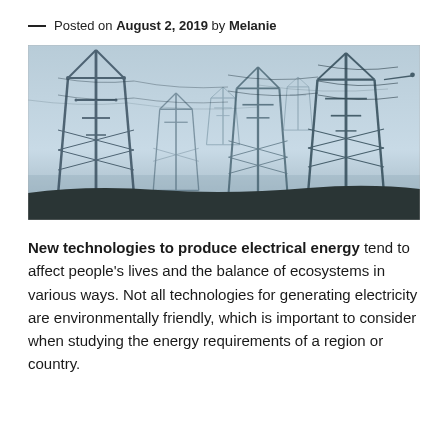— Posted on August 2, 2019 by Melanie
[Figure (photo): Photograph of multiple high-voltage electricity transmission towers (pylons) against a pale blue-grey sky, with power lines extending between them.]
New technologies to produce electrical energy tend to affect people's lives and the balance of ecosystems in various ways. Not all technologies for generating electricity are environmentally friendly, which is important to consider when studying the energy requirements of a region or country.